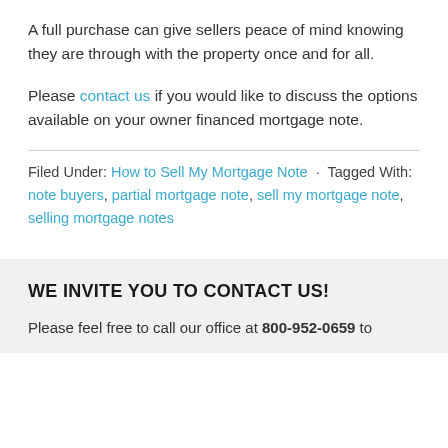A full purchase can give sellers peace of mind knowing they are through with the property once and for all.
Please contact us if you would like to discuss the options available on your owner financed mortgage note.
Filed Under: How to Sell My Mortgage Note · Tagged With: note buyers, partial mortgage note, sell my mortgage note, selling mortgage notes
WE INVITE YOU TO CONTACT US!
Please feel free to call our office at 800-952-0659 to